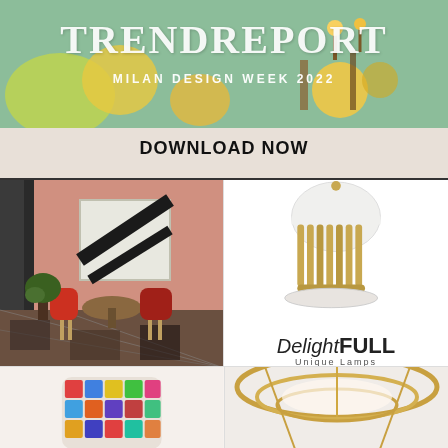[Figure (illustration): Trend Report banner with text 'TRENDREPORT' and 'MILAN DESIGN WEEK 2022' over a colorful illustrated background with geometric shapes and lamps]
DOWNLOAD NOW
[Figure (photo): Interior design photo showing a pink-walled room with red chairs, a round table, geometric patterned floor, and abstract black-and-white wall art]
[Figure (photo): DelightFULL table lamp with U-shaped gold/brass tube base and white dome shade, with DelightFULL Unique Lamps logo below]
[Figure (photo): Colorful geometric patterned armchair with mosaic-like multicolor upholstery, partially visible at bottom left]
[Figure (photo): Close-up of a ceiling lamp with gold/brass circular rings and white interior, partially visible at bottom right]